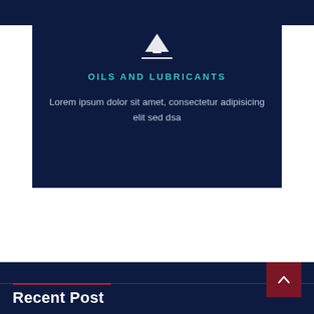[Figure (illustration): Dark navy blue card with sailboat icon at top, teal heading 'OILS AND LUBRICANTS', and lorem ipsum body text on dark navy background]
OILS AND LUBRICANTS
Lorem ipsum dolor sit amet, consectetur adipisicing elit sed dsa
Recent Post